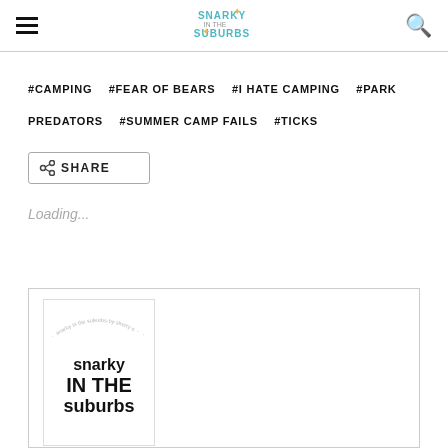Snarky in the Suburbs - navigation header with hamburger menu, logo, and search icon
#CAMPING   #FEAR OF BEARS   #I HATE CAMPING   #PARK PREDATORS   #SUMMER CAMP FAILS   #TICKS
< SHARE
Loading...
[Figure (illustration): Book cover preview for 'Snarky in the Suburbs' showing the book title in bold text with circular arc text decoration around it]